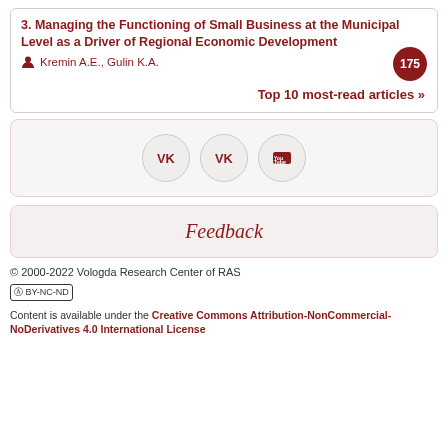3. Managing the Functioning of Small Business at the Municipal Level as a Driver of Regional Economic Development
Kremin A.E., Gulin K.A.
175
Top 10 most-read articles »
[Figure (infographic): Social media icon buttons: VK (twice) and YouTube, displayed as circular buttons in a light box]
Feedback
© 2000-2022 Vologda Research Center of RAS
Content is available under the Creative Commons Attribution-NonCommercial-NoDerivatives 4.0 International License